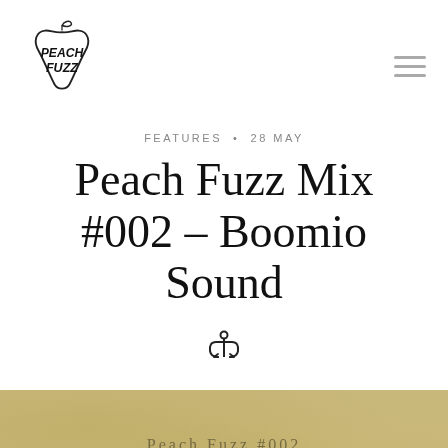[Figure (logo): Peach Fuzz logo: a peach/apple shape with bubble lettering reading PEACH FUZZ, hand-drawn style]
FEATURES • 28 MAY
Peach Fuzz Mix #002 – Boomio Sound
[Figure (illustration): Anchor icon symbol]
[Figure (photo): Tan/golden textured background (felt or paper texture) with spaced-out text reading 'Peach Fuzz #002 Boomio Sound']